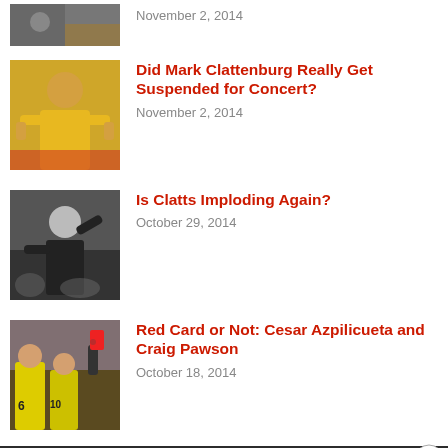[Figure (photo): Partial thumbnail of soccer players at top, cropped]
November 2, 2014
[Figure (photo): Referee in yellow jersey standing on pitch]
Did Mark Clattenburg Really Get Suspended for Concert?
November 2, 2014
[Figure (photo): Referee in black uniform gesturing on pitch]
Is Clatts Imploding Again?
October 29, 2014
[Figure (photo): Soccer players in yellow uniforms with referee showing card]
Red Card or Not: Cesar Azpilicueta and Craig Pawson
October 18, 2014
Advertisements
The Platform Where WordPress Works Best — Pressable